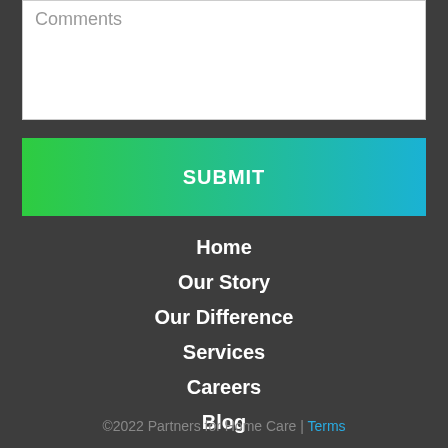[Figure (screenshot): Comments text input box with placeholder text 'Comments']
[Figure (screenshot): Submit button with green to blue gradient]
Home
Our Story
Our Difference
Services
Careers
Blog
Contact Us
©2022 Partners for Home Care | Terms